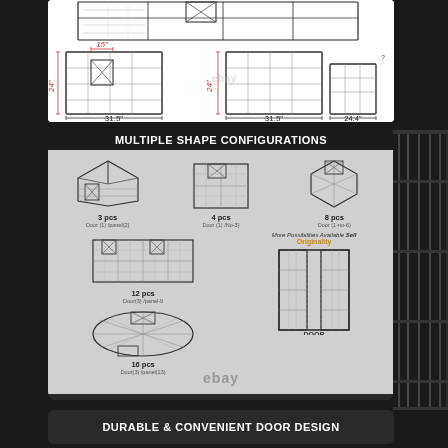[Figure (engineering-diagram): Top-view dimension diagram of a pet playpen/fence showing panel configurations with measurements: 15 inch door width, 24 inch panel height on sides, 31.5 inch panel widths, and 24.4 inch depth. Red dimension lines and labels.]
MULTIPLE SHAPE CONFIGURATIONS
[Figure (infographic): Multiple shape configurations infographic showing pet playpen/exercise pen in different panel count arrangements: 3 pcs (Door-1/panel-2), 4 pcs (Door-1/No-3), 8 pcs (Door-1/no-6), 12 pcs (Door-3/panel-9), 16 pcs (Door-3/panel-13). Also shows door detail diagram with DOOR label. More Possibilities Available note with Originality text in amber. eBay watermark visible.]
DURABLE & CONVENIENT DOOR DESIGN